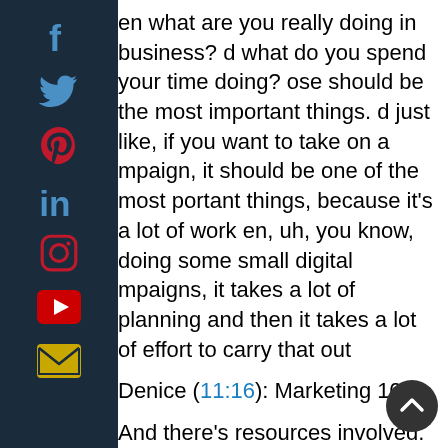[Figure (other): Vertical social media icon sidebar with dark navy background containing Facebook, Twitter, Pinterest, LinkedIn, Instagram, YouTube, and Email icons]
en what are you really doing in business? d what do you spend your time doing? ose should be the most important things. d just like, if you want to take on a mpaign, it should be one of the most portant things, because it's a lot of work en, uh, you know, doing some small digital mpaigns, it takes a lot of planning and then it takes a lot of effort to carry that out
Denice (11:16): Marketing 101
And there's resources involved. And it's not just the financial resources, but you're right.